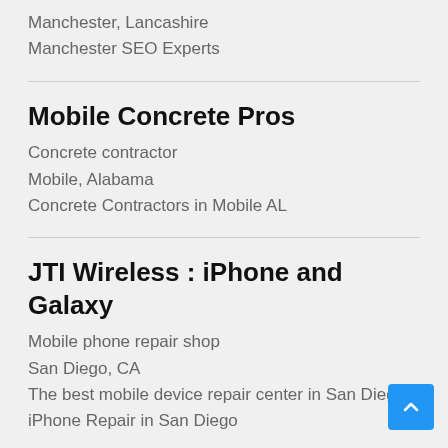Manchester, Lancashire
Manchester SEO Experts
Mobile Concrete Pros
Concrete contractor
Mobile, Alabama
Concrete Contractors in Mobile AL
JTI Wireless : iPhone and Galaxy
Mobile phone repair shop
San Diego, CA
The best mobile device repair center in San Diego. iPhone Repair in San Diego